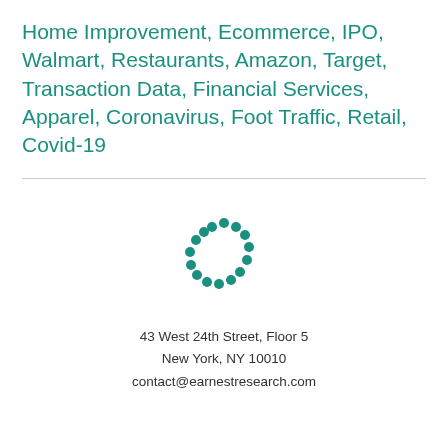Home Improvement, Ecommerce, IPO, Walmart, Restaurants, Amazon, Target, Transaction Data, Financial Services, Apparel, Coronavirus, Foot Traffic, Retail, Covid-19
[Figure (logo): Earnest Research logo: circular arrangement of teal dots forming an arc/circle pattern]
43 West 24th Street, Floor 5
New York, NY 10010
contact@earnestresearch.com